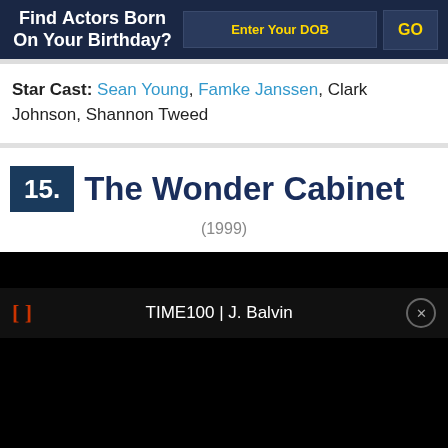Find Actors Born On Your Birthday?
Star Cast: Sean Young, Famke Janssen, Clark Johnson, Shannon Tweed
15. The Wonder Cabinet (1999)
TIME100 | J. Balvin